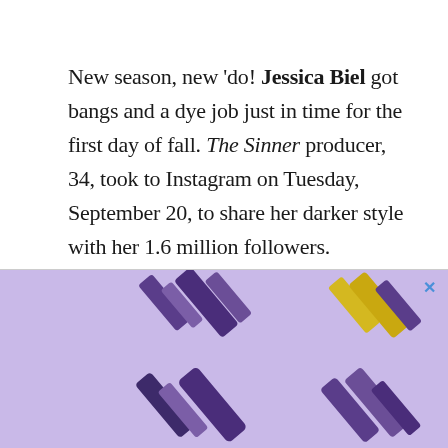New season, new 'do! Jessica Biel got bangs and a dye job just in time for the first day of fall. The Sinner producer, 34, took to Instagram on Tuesday, September 20, to share her darker style with her 1.6 million followers.
[Figure (other): John Frieda advertisement banner with purple background showing hair product bottles arranged diagonally. Text reads: JOHN FRIEDA. IT'S FOR ME SHOP NOW with a close (X) button.]